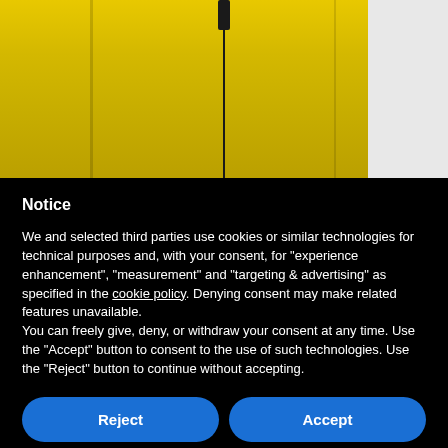[Figure (photo): Yellow fabric/clothing with a dark zipper seam running vertically in the center, with a white/grey panel visible on the right side]
Notice
We and selected third parties use cookies or similar technologies for technical purposes and, with your consent, for “experience enhancement”, “measurement” and “targeting & advertising” as specified in the cookie policy. Denying consent may make related features unavailable.
You can freely give, deny, or withdraw your consent at any time. Use the “Accept” button to consent to the use of such technologies. Use the “Reject” button to continue without accepting.
Reject
Accept
Learn more and customize